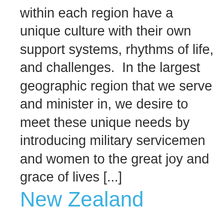within each region have a unique culture with their own support systems, rhythms of life, and challenges.  In the largest geographic region that we serve and minister in, we desire to meet these unique needs by introducing military servicemen and women to the great joy and grace of lives [...]
New Zealand